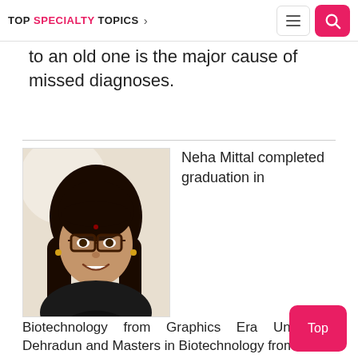TOP SPECIALTY TOPICS
to an old one is the major cause of missed diagnoses.
[Figure (photo): Headshot photo of Neha Mittal, a young woman with long dark hair, glasses, wearing a dark top, smiling.]
Neha Mittal completed graduation in
Biotechnology from Graphics Era University, Dehradun and Masters in Biotechnology from